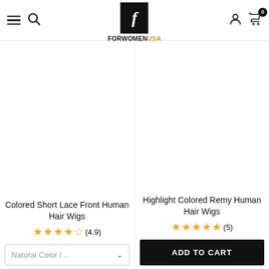[Figure (logo): FORWOMENUSA logo with stylized F in black box and brand name below]
Colored Short Lace Front Human Hair Wigs
★★★★½ (4.9)
Natural Color / ...  ▾
Highlight Colored Remy Human Hair Wigs
★★★★★ (5)
ADD TO CART